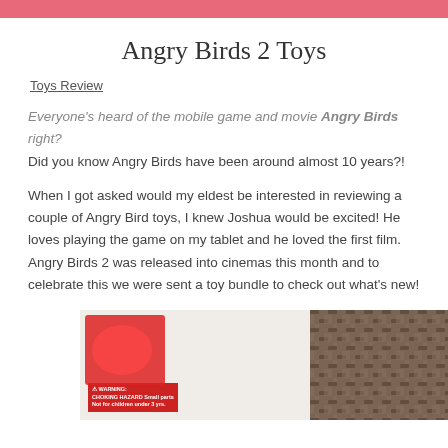Angry Birds 2 Toys
Toys Review
Everyone's heard of the mobile game and movie Angry Birds right? Did you know Angry Birds have been around almost 10 years?!
When I got asked would my eldest be interested in reviewing a couple of Angry Bird toys, I knew Joshua would be excited! He loves playing the game on my tablet and he loved the first film. Angry Birds 2 was released into cinemas this month and to celebrate this we were sent a toy bundle to check out what's new!
[Figure (photo): Photo of Angry Birds toy packaging on the left and wicker basket texture on the right]